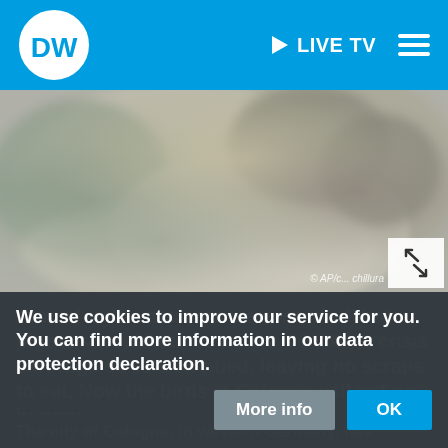DW | LIVE TV
[Figure (photo): Close-up blurred photo of a pigeon with grey and brown feathers, background showing blurred cityscape or waterfront]
© AP/c... chillura
Animal rights activists were worried that pigeons would starve as the COVID-19 crisis saw high streets emptied, leaving no scraps to eat. Now the birds in Cologne will not go hungry.
We use cookies to improve our service for you. You can find more information in our data protection declaration.
The city of Cologne, in western Germany, has